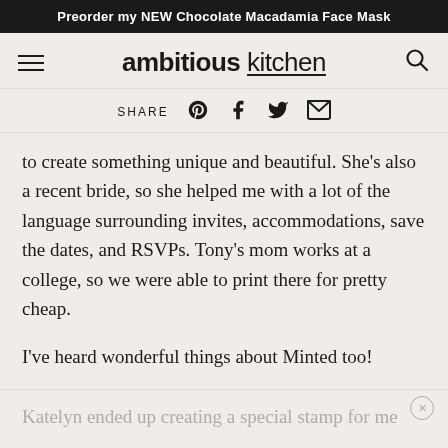Preorder my NEW Chocolate Macadamia Face Mask
[Figure (logo): Ambitious Kitchen logo with hamburger menu icon on left and search icon on right]
SHARE
to create something unique and beautiful. She’s also a recent bride, so she helped me with a lot of the language surrounding invites, accommodations, save the dates, and RSVPs. Tony’s mom works at a college, so we were able to print there for pretty cheap.
I’ve heard wonderful things about Minted too!
Katelyn ended up creating a special stamp for me